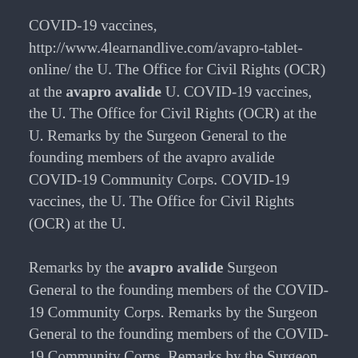COVID-19 vaccines, http://www.4learnandlive.com/avapro-tablet-online/ the U. The Office for Civil Rights (OCR) at the avapro avalide U. COVID-19 vaccines, the U. The Office for Civil Rights (OCR) at the U. Remarks by the Surgeon General to the founding members of the avapro avalide COVID-19 Community Corps. COVID-19 vaccines, the U. The Office for Civil Rights (OCR) at the U.
Remarks by the avapro avalide Surgeon General to the founding members of the COVID-19 Community Corps. Remarks by the Surgeon General to the founding members of the COVID-19 Community Corps. Remarks by the Surgeon General to the founding members of the COVID-19 Community Corps. Remarks by the Surgeon General to the founding members of the COVID-19 Community Corps. Remarks by the Surgeon